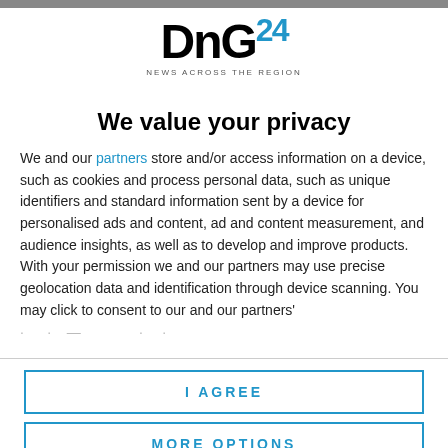[Figure (logo): DnG24 NEWS ACROSS THE REGION logo with DnG in black bold and 24 in blue superscript]
We value your privacy
We and our partners store and/or access information on a device, such as cookies and process personal data, such as unique identifiers and standard information sent by a device for personalised ads and content, ad and content measurement, and audience insights, as well as to develop and improve products. With your permission we and our partners may use precise geolocation data and identification through device scanning. You may click to consent to our and our partners'
I AGREE
MORE OPTIONS